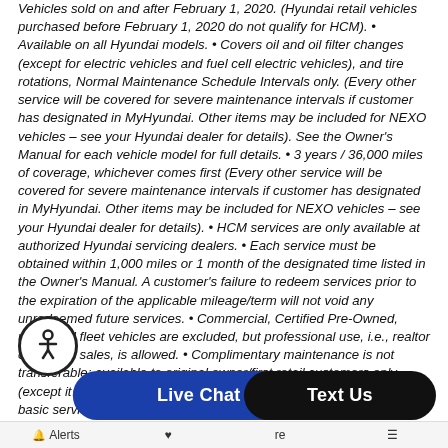Vehicles sold on and after February 1, 2020. (Hyundai retail vehicles purchased before February 1, 2020 do not qualify for HCM). • Available on all Hyundai models. • Covers oil and oil filter changes (except for electric vehicles and fuel cell electric vehicles), and tire rotations, Normal Maintenance Schedule Intervals only. (Every other service will be covered for severe maintenance intervals if customer has designated in MyHyundai. Other items may be included for NEXO vehicles – see your Hyundai dealer for details). See the Owner's Manual for each vehicle model for full details. • 3 years / 36,000 miles of coverage, whichever comes first (Every other service will be covered for severe maintenance intervals if customer has designated in MyHyundai. Other items may be included for NEXO vehicles – see your Hyundai dealer for details). • HCM services are only available at authorized Hyundai servicing dealers. • Each service must be obtained within 1,000 miles or 1 month of the designated time listed in the Owner's Manual. A customer's failure to redeem services prior to the expiration of the applicable mileage/term will not void any unredeemed future services. • Commercial, Certified Pre-Owned, used, and fleet vehicles are excluded, but professional use, i.e., realtor or outside sales, is allowed. • Complimentary maintenance is not transferable; available to original owner/first retail customers only (except it can be transferred from spouse to spouse). • Only covers basic services listed in the Owner's Manual at the time specified. Normal wear and tear items such as engine air filter, cabin filter, brake pads, etc. are not covered.
[Figure (other): Accessibility icon — circular button with wheelchair/person symbol]
[Figure (other): Live Chat button — blue rounded pill button]
[Figure (other): Text Us button — black rounded pill button]
Alerts  [heart icon]  re  [icon]